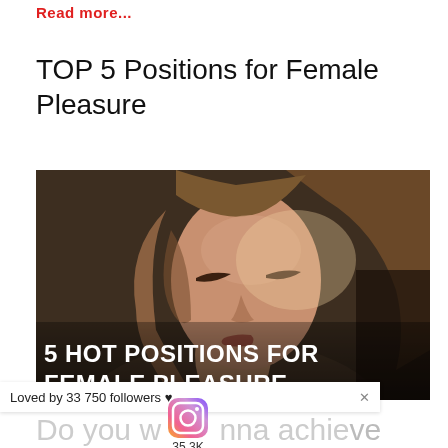Read more...
TOP 5 Positions for Female Pleasure
[Figure (photo): Close-up photo of a woman with eyes closed and head tilted back, with overlay text reading '5 HOT POSITIONS FOR FEMALE PLEASURE']
Loved by 33 750 followers ♥
Do you wanna achieve the brightest ... of